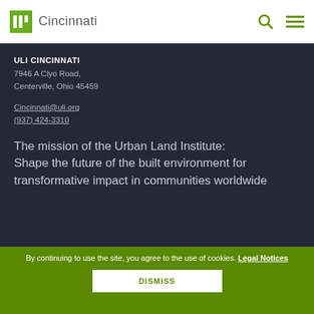ULI Cincinnati
ULI CINCINNATI
7946 A Clyo Road,
Centerville, Ohio 45459

Cincinnati@uli.org
(937) 424-3310
The mission of the Urban Land Institute: Shape the future of the built environment for transformative impact in communities worldwide
By continuing to use the site, you agree to the use of cookies. Legal Notices
DISMISS